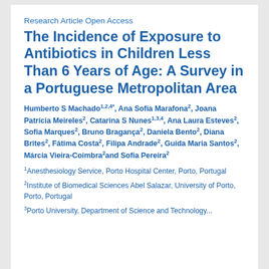Research Article Open Access
The Incidence of Exposure to Antibiotics in Children Less Than 6 Years of Age: A Survey in a Portuguese Metropolitan Area
Humberto S Machado1,2,4*, Ana Sofia Marafona2, Joana Patrícia Meireles2, Catarina S Nunes1,3,4, Ana Laura Esteves2, Sofia Marques2, Bruno Bragança2, Daniela Bento2, Diana Brites2, Fátima Costa2, Filipa Andrade2, Guida Maria Santos2, Márcia Vieira-Coimbra2and Sofia Pereira2
1Anesthesiology Service, Porto Hospital Center, Porto, Portugal
2Institute of Biomedical Sciences Abel Salazar, University of Porto, Porto, Portugal
3Porto University, Department of Science and Technology...